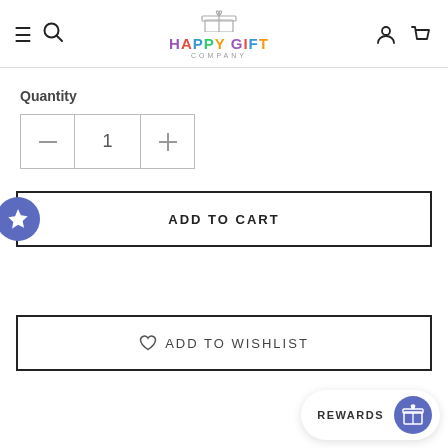Happy Gift Company — navigation header with menu, search, logo, account, cart icons
Quantity
1
ADD TO CART
ADD TO WISHLIST
REWARDS